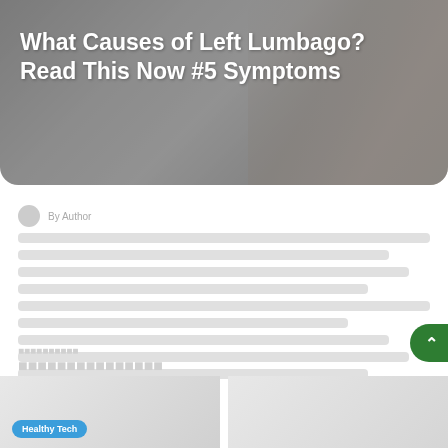[Figure (photo): Hero image showing hands holding lower back area, with a gray/blurred background suggesting back pain context]
What Causes of Left Lumbago? Read This Now #5 Symptoms
[Author avatar and metadata row - blurred/redacted]
[Article body text - blurred/redacted lines]
[Related articles heading - blurred]
[Related articles subheading - blurred]
[Figure (photo): Card thumbnail image left - light background medical/health related]
[Figure (photo): Card thumbnail image right - light background medical/health related]
Healthy Tech